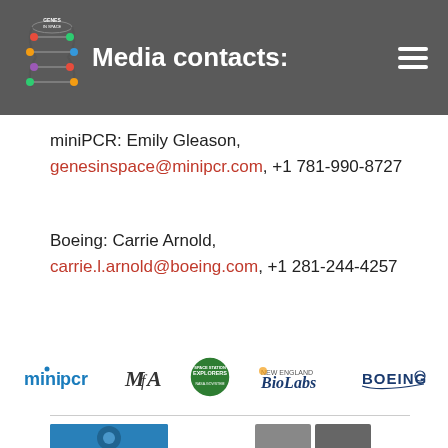Media contacts:
miniPCR: Emily Gleason, genesinspace@minipcr.com, +1 781-990-8727
Boeing: Carrie Arnold, carrie.l.arnold@boeing.com, +1 281-244-4257
[Figure (logo): Sponsor logos: miniPCR, MfA, Space Station Explorers, New England BioLabs, Boeing]